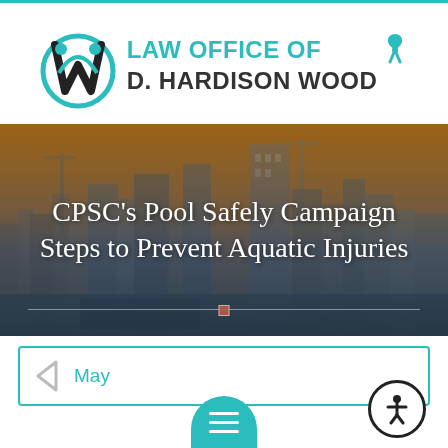[Figure (logo): Law Office of D. Hardison Wood logo with stylized 'dh' monogram in teal/black and teal awareness ribbon, with firm name in teal and dark text]
[Figure (photo): City skyline hero image with warm orange sky, overlaid with semi-transparent dark gradient, displaying article title text]
CPSC's Pool Safely Campaign Steps to Prevent Aquatic Injuries
May
[Figure (other): Teal hamburger/menu button (half-circle) at bottom center and circular accessibility icon button at bottom right]